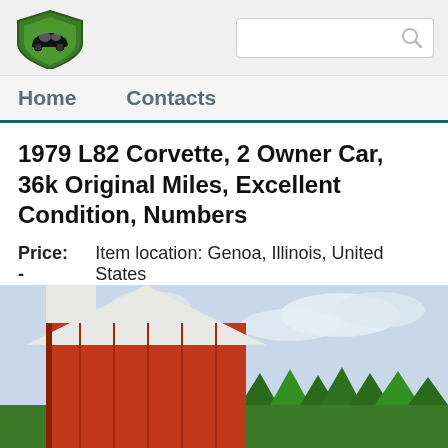Home   Contacts
1979 L82 Corvette, 2 Owner Car, 36k Original Miles, Excellent Condition, Numbers
Price: -   Item location: Genoa, Illinois, United States
[Figure (photo): Partial photo of a red barn with white roof against a blue sky with trees in background]